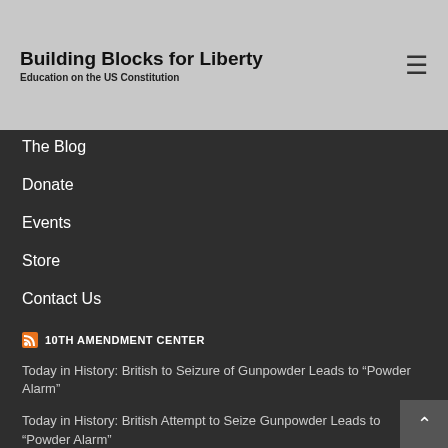Building Blocks for Liberty
Education on the US Constitution
The Blog
Donate
Events
Store
Contact Us
10TH AMENDMENT CENTER
Today in History: British to Seizure of Gunpowder Leads to “Powder Alarm”
Today in History: British Attempt to Seize Gunpowder Leads to “Powder Alarm”